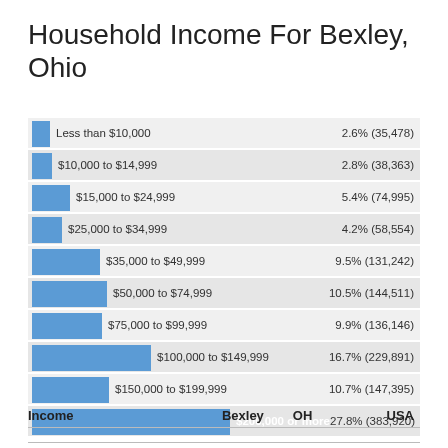Household Income For Bexley, Ohio
[Figure (bar-chart): Household Income For Bexley, Ohio]
| Income | Bexley | OH | USA |
| --- | --- | --- | --- |